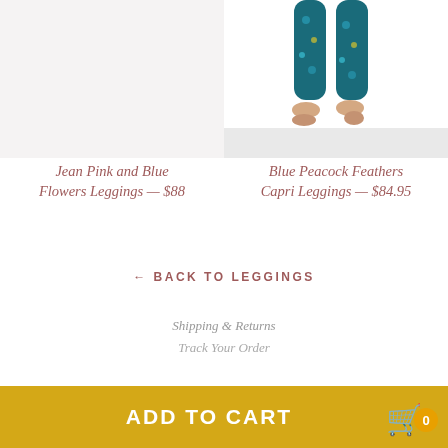[Figure (photo): Photo of person wearing Blue Peacock Feathers Capri Leggings - partial view showing legs from knees down, barefoot, with teal/blue galaxy-print capri leggings]
Jean Pink and Blue Flowers Leggings — $88
Blue Peacock Feathers Capri Leggings — $84.95
← BACK TO LEGGINGS
Shipping & Returns
Track Your Order
ADD TO CART